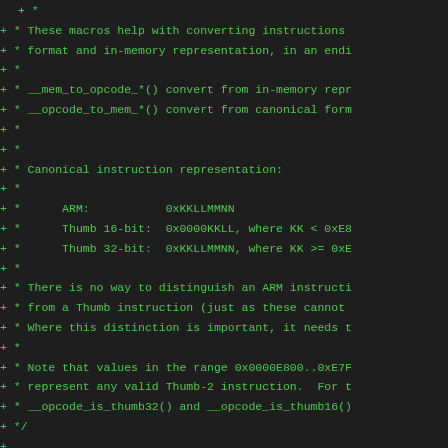+ *
+ * These macros help with converting instructions
+ * format and in-memory representation, in an endi
+ *
+ * __mem_to_opcode_*() convert from in-memory repr
+ * __opcode_to_mem_*() convert from canonical form
+ *
+ *
+ * Canonical instruction representation:
+ *
+ *      ARM:           0xKKLLMMNN
+ *      Thumb 16-bit:  0x0000KKLL, where KK < 0xE8
+ *      Thumb 32-bit:  0xKKLLMMNN, where KK >= 0xE
+ *
+ * There is no way to distinguish an ARM instructi
+ * from a Thumb instruction (just as these cannot
+ * Where this distinction is important, it needs t
+ *
+ * Note that values in the range 0x0000E800..0xE7F
+ * represent any valid Thumb-2 instruction.  For t
+ * __opcode_is_thumb32() and __opcode_is_thumb16()
+ */
+
+#ifndef __ASSEMBLY__
+
+#include <linux/types.h>
+#include <linux/swab.h>